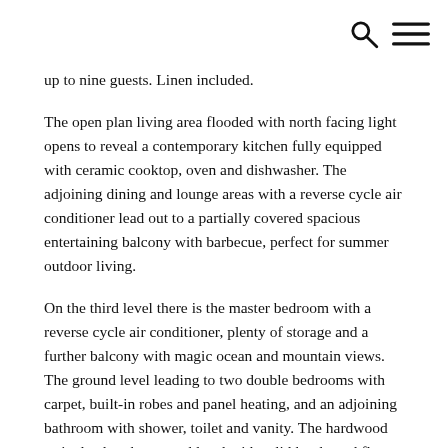[search icon] [menu icon]
up to nine guests. Linen included.
The open plan living area flooded with north facing light opens to reveal a contemporary kitchen fully equipped with ceramic cooktop, oven and dishwasher. The adjoining dining and lounge areas with a reverse cycle air conditioner lead out to a partially covered spacious entertaining balcony with barbecue, perfect for summer outdoor living.
On the third level there is the master bedroom with a reverse cycle air conditioner, plenty of storage and a further balcony with magic ocean and mountain views. The ground level leading to two double bedrooms with carpet, built-in robes and panel heating, and an adjoining bathroom with shower, toilet and vanity. The hardwood stairs lead to the second level with solid hardwood floors. The spacious carpeted master bedroom is at the rear with large built-in robes, and beside that is the main bathroom with a large vanity, rain shower, concealed toilet and sizeable bath.